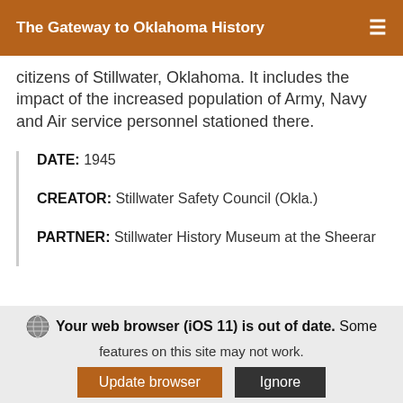The Gateway to Oklahoma History
citizens of Stillwater, Oklahoma. It includes the impact of the increased population of Army, Navy and Air service personnel stationed there.
DATE: 1945
CREATOR: Stillwater Safety Council (Okla.)
PARTNER: Stillwater History Museum at the Sheerar
[Figure (photo): Thumbnail of an orange book cover with green emblem labeled 'National traffic safety contest']
National traffic safety contest : analysis of report for Stillwater, Oklahoma, 1946
Your web browser (iOS 11) is out of date. Some features on this site may not work.